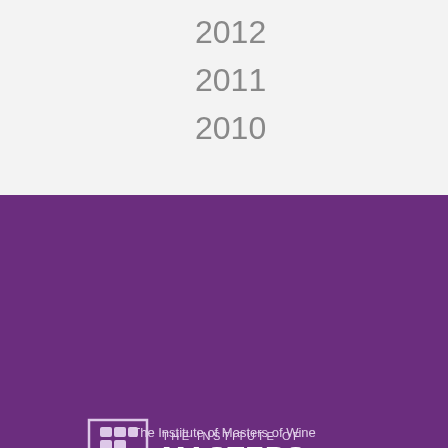2012
2011
2010
[Figure (logo): The Institute of Masters of Wine logo — a shield emblem with grape/leaf motif and text 'THE INSTITUTE OF MASTERS']
This website uses cookies to ensure you get the best experience.  Learn more
Accept
The Institute of Masters of Wine